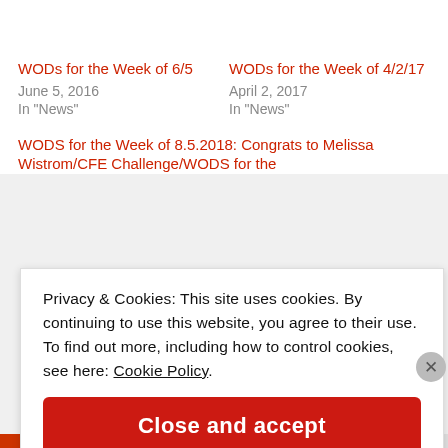WODs for the Week of 6/5
June 5, 2016
In "News"
WODs for the Week of 4/2/17
April 2, 2017
In "News"
WODS for the Week of 8.5.2018: Congrats to Melissa Wistrom/CFE Challenge/WODS for the
Privacy & Cookies: This site uses cookies. By continuing to use this website, you agree to their use. To find out more, including how to control cookies, see here: Cookie Policy